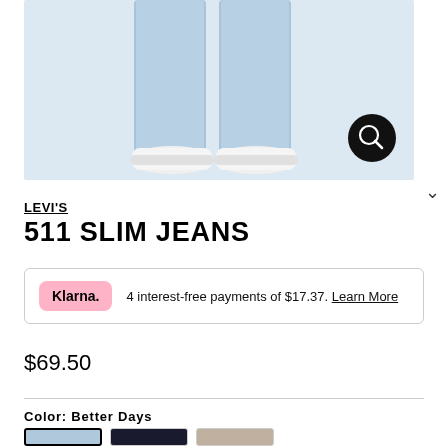[Figure (photo): Lower body of a person wearing light blue slim jeans and white sneakers against a light grey background. A zoom/magnify button is visible in the bottom right corner of the image.]
LEVI'S
511 SLIM JEANS
Klarna. 4 interest-free payments of $17.37. Learn More
$69.50
Color: Better Days
[Figure (photo): Three color swatch thumbnail images of the jeans: light blue (selected, with black border), dark navy/black, and a lighter tan/grey wash.]